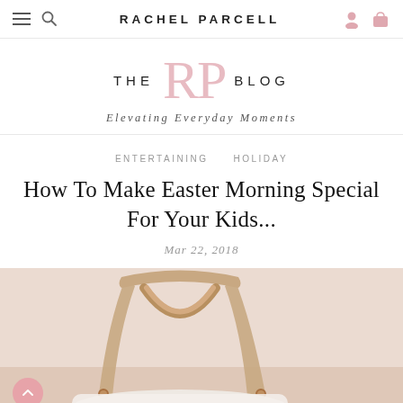RACHEL PARCELL
[Figure (logo): THE RP BLOG logo with large pink RP monogram and tagline 'Elevating Everyday Moments']
ENTERTAINING   HOLIDAY
How To Make Easter Morning Special For Your Kids...
Mar 22, 2018
[Figure (photo): Photo of a wooden wishbone chair with white fabric and Easter decorations on a light pink/beige background]